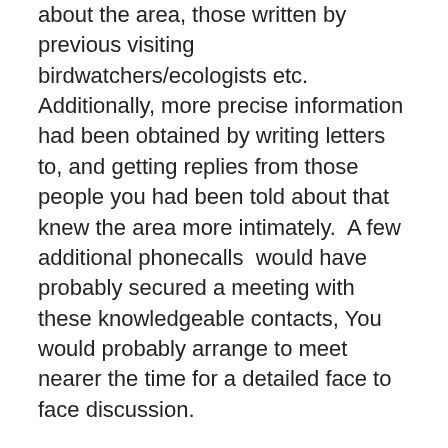about the area, those written by previous visiting birdwatchers/ecologists etc. Additionally, more precise information had been obtained by writing letters to, and getting replies from those people you had been told about that knew the area more intimately.  A few additional phonecalls  would have probably secured a meeting with these knowledgeable contacts, You would probably arrange to meet nearer the time for a detailed face to face discussion.
All the above would have taken months if not years to put together, but now you were on your own, like any good wildlife sound recordist has to be. It would be light soon, the wind was in your face the smell of the earth was enhancing your well-being and you were off to capture that sound.
Your senses were awakening, and those basic